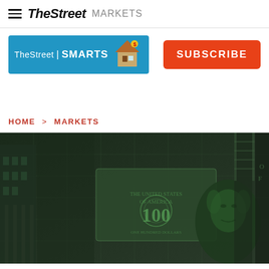TheStreet MARKETS
[Figure (logo): TheStreet | SMARTS badge with house icon on blue background]
[Figure (other): Orange SUBSCRIBE button]
HOME > MARKETS
[Figure (photo): Background photo of US $100 bills overlaid with architectural building image in dark green tones]